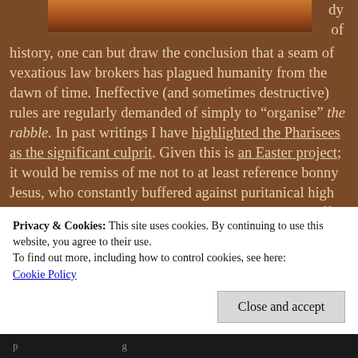[Figure (photo): Partial image at top of page showing a warm-toned scene, partially visible]
dy
of
history, one can but draw the conclusion that a seam of vexatious law brokers has plagued humanity from the dawn of time. Ineffective (and sometimes destructive) rules are regularly demanded of simply to “organise” the rabble. In past writings I have highlighted the Pharisees as the significant culprit. Given this is an Easter project; it would be remiss of me not to at least reference bonny Jesus, who constantly buffered against puritanical high priests lacking common sense and honest dignity. Suffice to say, grooming is a vital symptom of society.
Privacy & Cookies: This site uses cookies. By continuing to use this website, you agree to their use.
To find out more, including how to control cookies, see here:
Cookie Policy
Close and accept